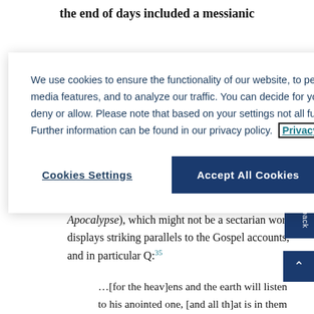the end of days included a messianic
We use cookies to ensure the functionality of our website, to personalize content, to provide social media features, and to analyze our traffic. You can decide for yourself which categories you want to deny or allow. Please note that based on your settings not all functionalities of the site are available. Further information can be found in our privacy policy. Privacy Statement
Cookies Settings
Accept All Cookies
Apocalypse), which might not be a sectarian work, displays striking parallels to the Gospel accounts, and in particular Q:35
…[for the heav]ens and the earth will listen to his anointed one, [and all th]at is in them will not turn away